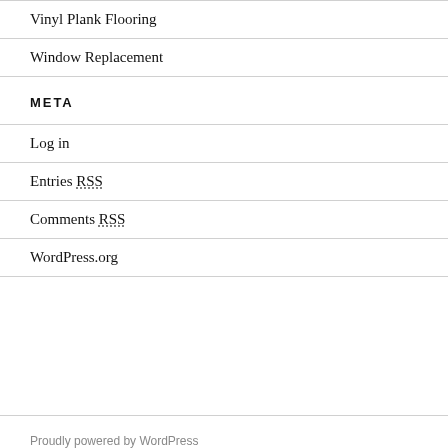Vinyl Plank Flooring
Window Replacement
META
Log in
Entries RSS
Comments RSS
WordPress.org
Proudly powered by WordPress